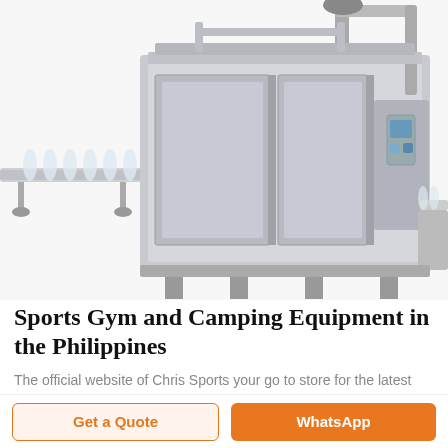[Figure (photo): Industrial water bottling/filling machine with conveyor belt, stainless steel enclosure, and pipes on white background]
Sports Gym and Camping Equipment in the Philippines
The official website of Chris Sports your go to store for the latest sports gym and camping equipment in the Philippines from treadmills elliptical exercise
Get a Quote
WhatsApp